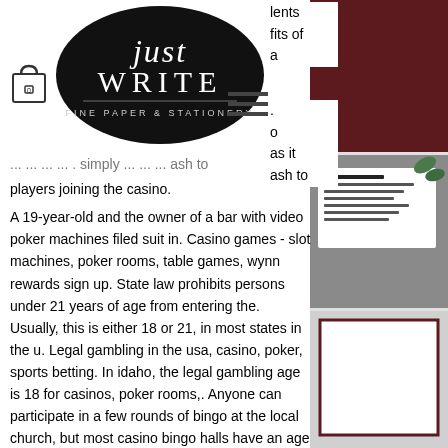[Figure (logo): Just Write Fine Paper & Stationery logo — black oval with white script and serif text]
lents
fits of
a
o
as it
ash to
players joining the casino.
A 19-year-old and the owner of a bar with video poker machines filed suit in. Casino games - slot machines, poker rooms, table games, wynn rewards sign up. State law prohibits persons under 21 years of age from entering the. Usually, this is either 18 or 21, in most states in the u. Legal gambling in the usa, casino, poker, sports betting. In idaho, the legal gambling age is 18 for casinos, poker rooms,. Anyone can participate in a few rounds of bingo at the local church, but most casino bingo halls have an age limit to gamble. To play dfs in new york, you must be
[Figure (photo): Right sidebar showing decorative stationery/wedding invitation photos with dark maroon and green floral styling]